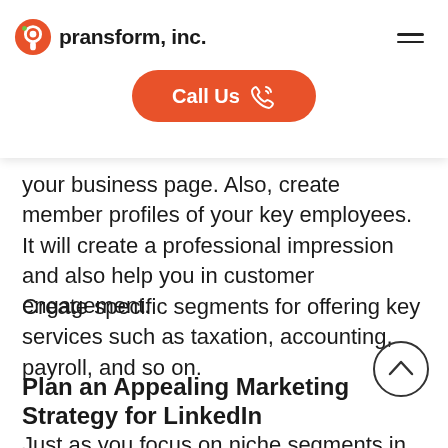pransform, inc. [logo] [hamburger menu] [Call Us button]
your business page. Also, create member profiles of your key employees. It will create a professional impression and also help you in customer engagement.
Create specific segments for offering key services such as taxation, accounting, payroll, and so on.
Plan an Appealing Marketing Strategy for LinkedIn
Just as you focus on niche segments in your CPA industry,